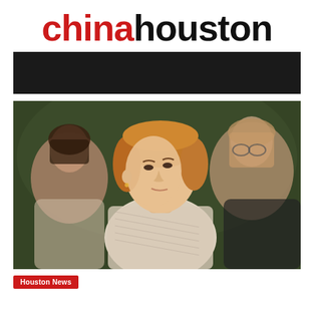chinahouston
[Figure (photo): Dark advertisement banner placeholder]
[Figure (photo): A woman with shoulder-length auburn hair standing in a crowd, looking to her left, wearing a patterned blouse. Other people are visible in the blurred background.]
Houston News